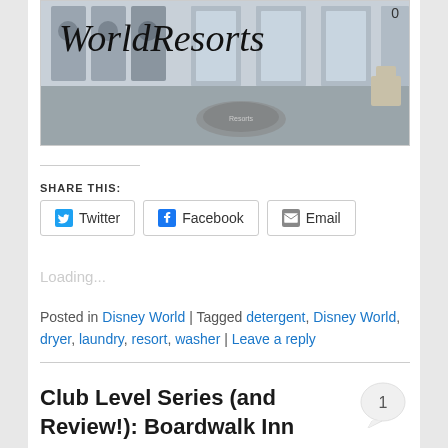[Figure (photo): Header image showing a laundry room with washers and dryers, overlaid with cursive script text 'WorldResorts' and a circular logo/mat on the floor.]
SHARE THIS:
Twitter  Facebook  Email
Loading...
Posted in Disney World | Tagged detergent, Disney World, dryer, laundry, resort, washer | Leave a reply
Club Level Series (and Review!): Boardwalk Inn